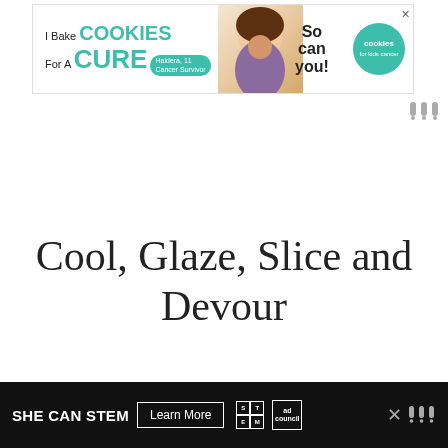[Figure (other): Cookies for a Cure advertisement banner — 'I Bake COOKIES For A CURE' with child cancer survivor Haidera, So can you! with green circle cookies logo]
[Figure (other): Small weather logo icon (three vertical bars with dots) in gray]
Cool, Glaze, Slice and Devour
[Figure (photo): Close-up food photograph of golden-brown braided or pull-apart bread with cinnamon filling, on a wire cooling rack with blue and white checkered cloth]
[Figure (other): SHE CAN STEM advertisement banner — 'SHE CAN STEM Learn More' with STEM grid logo and Ad Council logo on dark background]